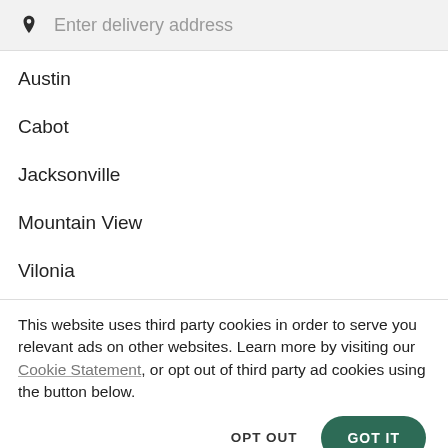Enter delivery address
Austin
Cabot
Jacksonville
Mountain View
Vilonia
This website uses third party cookies in order to serve you relevant ads on other websites. Learn more by visiting our Cookie Statement, or opt out of third party ad cookies using the button below.
OPT OUT
GOT IT